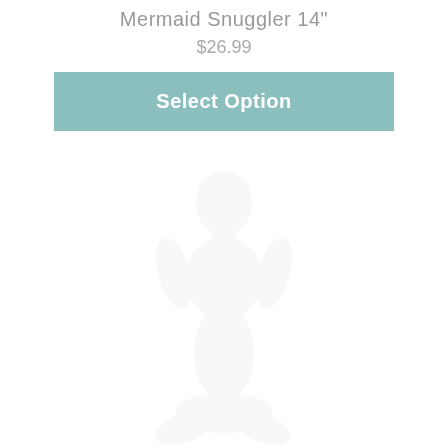Mermaid Snuggler 14"
$26.99
[Figure (screenshot): A teal/mint colored 'Select Option' button]
[Figure (photo): Faint ghost/watermark image of a mermaid snuggler product on white background]